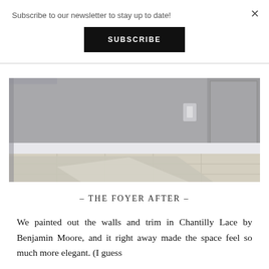Subscribe to our newsletter to stay up to date!
SUBSCRIBE
[Figure (photo): Interior photo of a foyer showing gray-painted walls with white trim and baseboard, and a floor with beige/cream large square tiles and light gray carpet area.]
– THE FOYER AFTER –
We painted out the walls and trim in Chantilly Lace by Benjamin Moore, and it right away made the space feel so much more elegant. (I guess